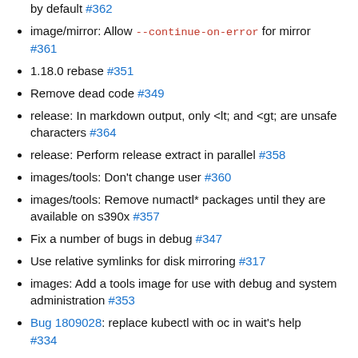by default #362
image/mirror: Allow --continue-on-error for mirror #361
1.18.0 rebase #351
Remove dead code #349
release: In markdown output, only &lt; and &gt; are unsafe characters #364
release: Perform release extract in parallel #358
images/tools: Don't change user #360
images/tools: Remove numactl* packages until they are available on s390x #357
Fix a number of bugs in debug #347
Use relative symlinks for disk mirroring #317
images: Add a tools image for use with debug and system administration #353
Bug 1809028: replace kubectl with oc in wait's help #334
Place apache license in cli-artifacts #337
Fix oc rsync help #359